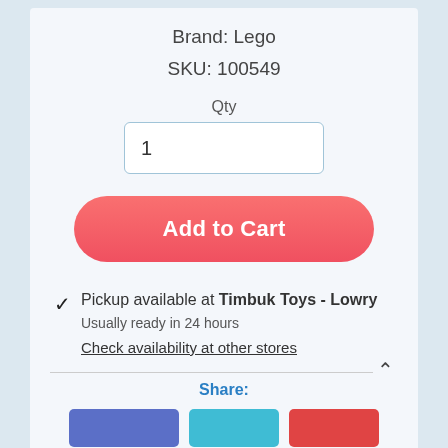Brand: Lego
SKU: 100549
Qty
1
Add to Cart
✓ Pickup available at Timbuk Toys - Lowry
Usually ready in 24 hours
Check availability at other stores
Share: